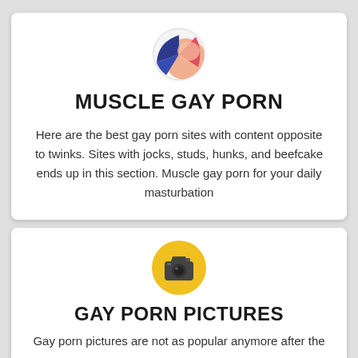[Figure (illustration): Circular icon with colorful abstract design in red, blue, and peach/skin tones]
MUSCLE GAY PORN
Here are the best gay porn sites with content opposite to twinks. Sites with jocks, studs, hunks, and beefcake ends up in this section. Muscle gay porn for your daily masturbation
[Figure (illustration): Camera icon on a yellow/gold circular background]
GAY PORN PICTURES
Gay porn pictures are not as popular anymore after the